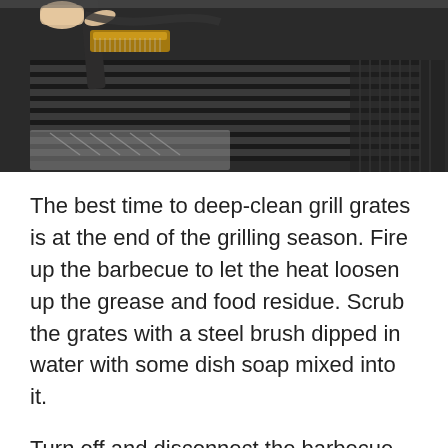[Figure (photo): Close-up photo of a barbecue grill with dark metal grates being scrubbed by a person holding a grill brush with bristles. The grill grates are parallel metal bars, and there is a stainless steel deflector visible. A hand is shown pointing or directing near the brush.]
The best time to deep-clean grill grates is at the end of the grilling season. Fire up the barbecue to let the heat loosen up the grease and food residue. Scrub the grates with a steel brush dipped in water with some dish soap mixed into it.
Turn off and disconnect the barbecue from the propane tank. When it's cool, remove and dunk